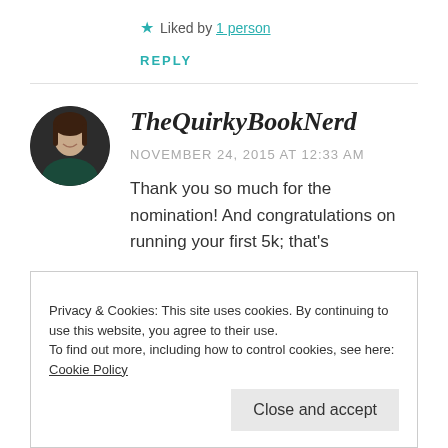★ Liked by 1 person
REPLY
TheQuirkyBookNerd
NOVEMBER 24, 2015 AT 12:33 AM
Thank you so much for the nomination! And congratulations on running your first 5k; that's
Privacy & Cookies: This site uses cookies. By continuing to use this website, you agree to their use.
To find out more, including how to control cookies, see here: Cookie Policy
Close and accept